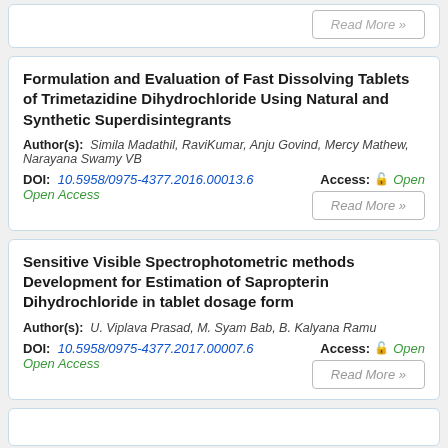Formulation and Evaluation of Fast Dissolving Tablets of Trimetazidine Dihydrochloride Using Natural and Synthetic Superdisintegrants
Author(s): Simila Madathil, RaviKumar, Anju Govind, Mercy Mathew, Narayana Swamy VB
DOI: 10.5958/0975-4377.2016.00013.6   Access: Open Access
Sensitive Visible Spectrophotometric methods Development for Estimation of Sapropterin Dihydrochloride in tablet dosage form
Author(s): U. Viplava Prasad, M. Syam Bab, B. Kalyana Ramu
DOI: 10.5958/0975-4377.2017.00007.6   Access: Open Access